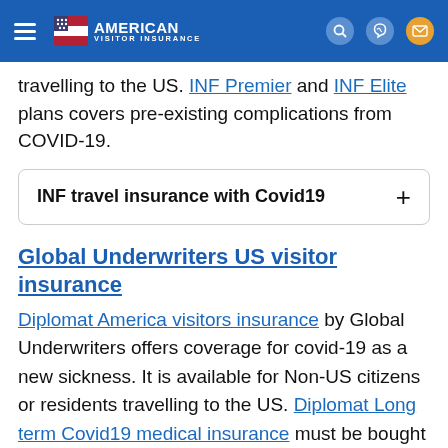American Visitor Insurance
travelling to the US. INF Premier and INF Elite plans covers pre-existing complications from COVID-19.
INF travel insurance with Covid19
Global Underwriters US visitor insurance
Diplomat America visitors insurance by Global Underwriters offers coverage for covid-19 as a new sickness. It is available for Non-US citizens or residents travelling to the US. Diplomat Long term Covid19 medical insurance must be bought for a minimum of 3 months and has a plan maximum options of $500,000 and $1,000,000 for